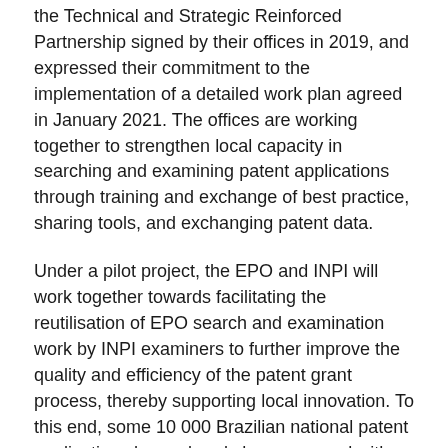the Technical and Strategic Reinforced Partnership signed by their offices in 2019, and expressed their commitment to the implementation of a detailed work plan agreed in January 2021. The offices are working together to strengthen local capacity in searching and examining patent applications through training and exchange of best practice, sharing tools, and exchanging patent data.
Under a pilot project, the EPO and INPI will work together towards facilitating the reutilisation of EPO search and examination work by INPI examiners to further improve the quality and efficiency of the patent grant process, thereby supporting local innovation. To this end, some 10 000 Brazilian national patent applications have already been mapped with their corresponding European applications.
The heads also discussed possible joint actions to further improve the mutual understanding of each office's practice in the examination of computer-implemented inventions and Artificial Intelligence related applications, and to raise